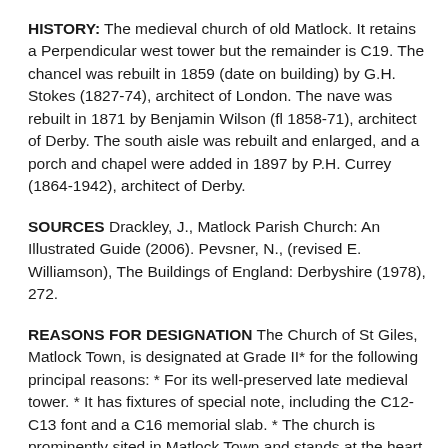HISTORY: The medieval church of old Matlock. It retains a Perpendicular west tower but the remainder is C19. The chancel was rebuilt in 1859 (date on building) by G.H. Stokes (1827-74), architect of London. The nave was rebuilt in 1871 by Benjamin Wilson (fl 1858-71), architect of Derby. The south aisle was rebuilt and enlarged, and a porch and chapel were added in 1897 by P.H. Currey (1864-1942), architect of Derby.
SOURCES Drackley, J., Matlock Parish Church: An Illustrated Guide (2006). Pevsner, N., (revised E. Williamson), The Buildings of England: Derbyshire (1978), 272.
REASONS FOR DESIGNATION The Church of St Giles, Matlock Town, is designated at Grade II* for the following principal reasons: * For its well-preserved late medieval tower. * It has fixtures of special note, including the C12-C13 font and a C16 memorial slab. * The church is prominently sited in Matlock Town and stands at the heart of the medieval settlement